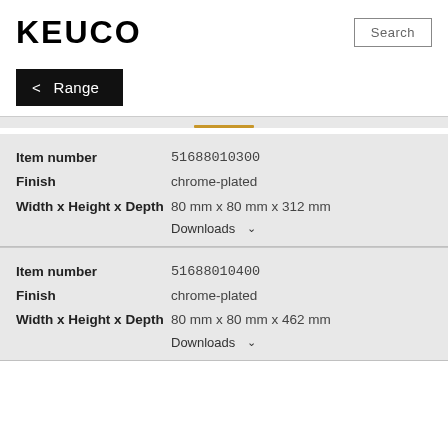[Figure (logo): KEUCO brand logo in bold black text]
Search
< Range
| Property | Value |
| --- | --- |
| Item number | 51688010300 |
| Finish | chrome-plated |
| Width x Height x Depth | 80 mm x 80 mm x 312 mm |
Downloads ∨
| Property | Value |
| --- | --- |
| Item number | 51688010400 |
| Finish | chrome-plated |
| Width x Height x Depth | 80 mm x 80 mm x 462 mm |
Downloads ∨